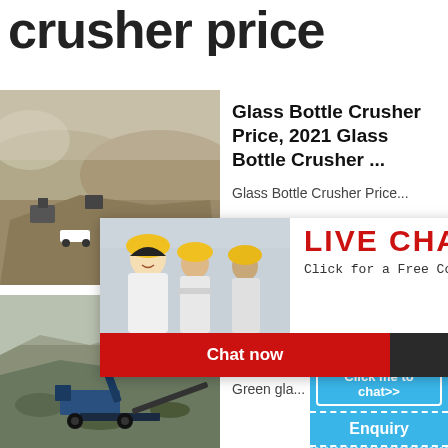crusher price
Glass Bottle Crusher Price, 2021 Glass Bottle Crusher ...
Glass Bottle Crusher Price...
[Figure (photo): Mining site with machinery and excavated terrain]
[Figure (photo): Live Chat popup with workers in yellow helmets. Text: LIVE CHAT, Click for a Free Consultation, Chat now, Chat later]
[Figure (other): Blue right panel showing cone crusher machine, hour online, Click me to chat>>, Enquiry, limingjlmofen]
Best Qu... glass c... After-S...
Green gla...
[Figure (photo): Mining site with heavy machinery and excavated rocky terrain]